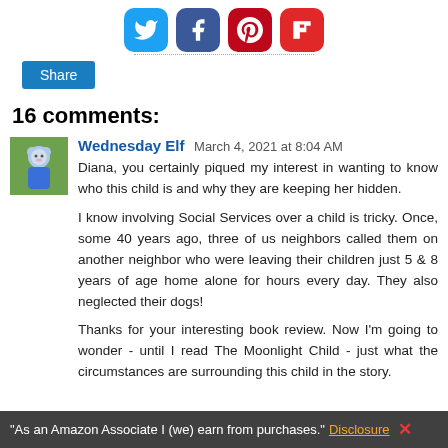[Figure (other): Social media share icons: Twitter (blue), Facebook (dark blue), Pinterest (red), Flipboard (red)]
Share
16 comments:
[Figure (photo): Avatar photo of Wednesday Elf — small square photo showing a blue stuffed animal figure outdoors]
Wednesday Elf March 4, 2021 at 8:04 AM
Diana, you certainly piqued my interest in wanting to know who this child is and why they are keeping her hidden.
I know involving Social Services over a child is tricky. Once, some 40 years ago, three of us neighbors called them on another neighbor who were leaving their children just 5 & 8 years of age home alone for hours every day. They also neglected their dogs!
Thanks for your interesting book review. Now I'm going to wonder - until I read The Moonlight Child - just what the circumstances are surrounding this child in the story.
"As an Amazon Associate I (we) earn from purchases." Disclosure ✕